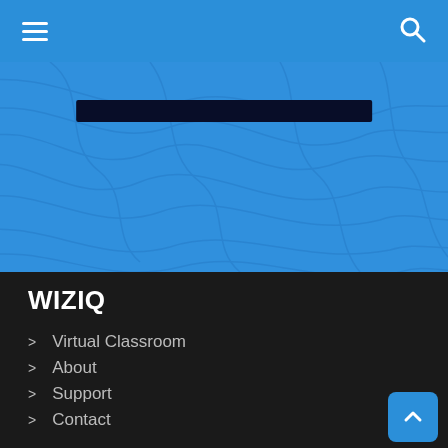Navigation bar with hamburger menu and search icon
[Figure (screenshot): Blue hero banner area with topographic contour line pattern and a dark navy horizontal bar element]
WIZIQ
Virtual Classroom
About
Support
Contact
Terms Of Service
Privacy Policy